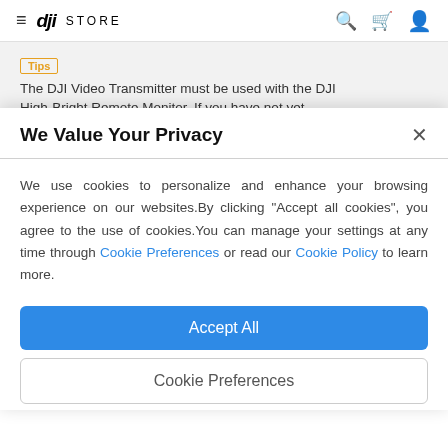DJI STORE — navigation bar with hamburger menu, search, cart, and account icons
Tips — The DJI Video Transmitter must be used with the DJI High-Bright Remote Monitor. If you have not yet...
We Value Your Privacy
We use cookies to personalize and enhance your browsing experience on our websites.By clicking "Accept all cookies", you agree to the use of cookies.You can manage your settings at any time through Cookie Preferences or read our Cookie Policy to learn more.
Accept All
Cookie Preferences